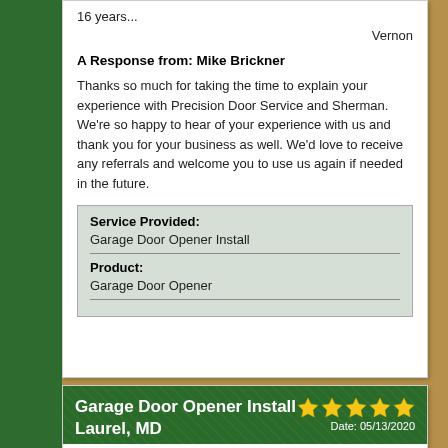16 years...
Vernon
A Response from: Mike Brickner
Thanks so much for taking the time to explain your experience with Precision Door Service and Sherman. We're so happy to hear of your experience with us and thank you for your business as well. We'd love to receive any referrals and welcome you to use us again if needed in the future.
| Service Provided: | Garage Door Opener Install |
| Product: | Garage Door Opener |
Garage Door Opener Install
Laurel, MD
Date: 05/13/2020
Review:
My garage 20 year old Sears door opener was on its last legs, so I called Precision Door Service of Central Maryland hoping that